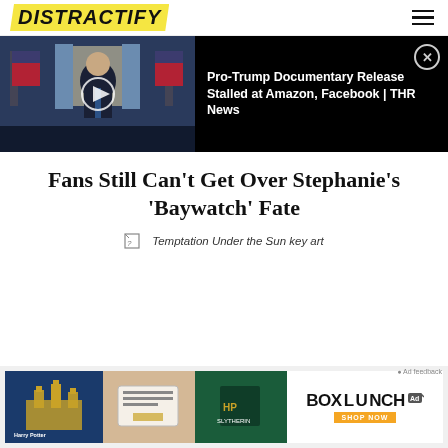DISTRACTIFY
[Figure (screenshot): Video thumbnail of man in suit with US flags, overlaid with text: Pro-Trump Documentary Release Stalled at Amazon, Facebook | THR News]
Fans Still Can't Get Over Stephanie's 'Baywatch' Fate
Temptation Under the Sun key art
[Figure (photo): Advertisement banner for BoxLunch Harry Potter merchandise showing Hogwarts castle, stationery items, and green branded apparel with SHOP NOW button]